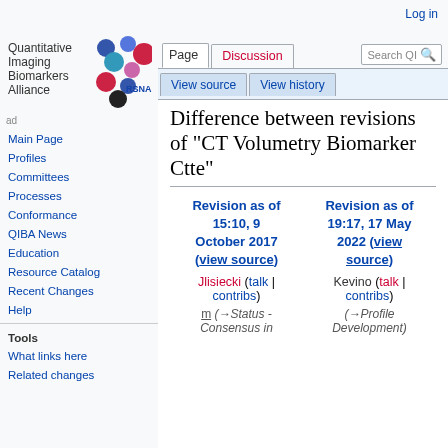Log in
[Figure (logo): Quantitative Imaging Biomarkers Alliance (QIBA/RSNA) logo with colorful dots]
Page | Discussion | View source | View history | Search QI
Difference between revisions of "CT Volumetry Biomarker Ctte"
Main Page
Profiles
Committees
Processes
Conformance
QIBA News
Education
Resource Catalog
Recent Changes
Help
Tools
What links here
Related changes
| Revision as of 15:10, 9 October 2017 (view source) | Revision as of 19:17, 17 May 2022 (view source) |
| --- | --- |
| Jlisiecki (talk | contribs) | Kevino (talk | contribs) |
| m (→Status - Consensus in | (→Profile Development) |